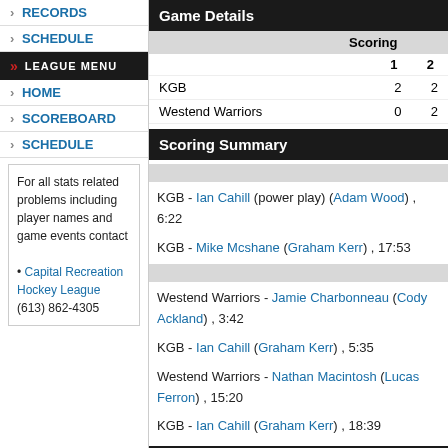RECORDS
SCHEDULE
LEAGUE MENU
HOME
SCOREBOARD
SCHEDULE
For all stats related problems including player names and game events contact
• Capital Recreation Hockey League
(613) 862-4305
Game Details
|  | 1 | 2 |
| --- | --- | --- |
| KGB | 2 | 2 |
| Westend Warriors | 0 | 2 |
Scoring Summary
KGB - Ian Cahill (power play) (Adam Wood) , 6:22
KGB - Mike Mcshane (Graham Kerr) , 17:53
Westend Warriors - Jamie Charbonneau (Cody Ackland) , 3:42
KGB - Ian Cahill (Graham Kerr) , 5:35
Westend Warriors - Nathan Macintosh (Lucas Ferron) , 15:20
KGB - Ian Cahill (Graham Kerr) , 18:39
Penalties
Westend Warriors - Kyle Brown (Tripping), 3 min , 5:23
(no penalties)
Rosters